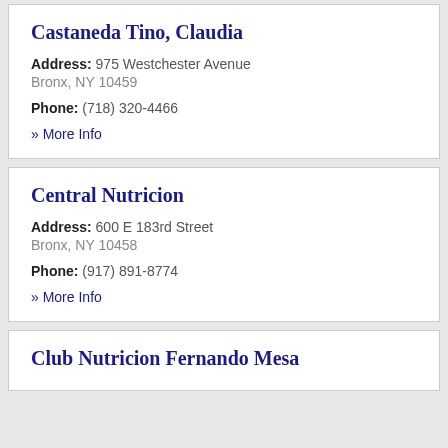Castaneda Tino, Claudia
Address: 975 Westchester Avenue
Bronx, NY 10459
Phone: (718) 320-4466
» More Info
Central Nutricion
Address: 600 E 183rd Street
Bronx, NY 10458
Phone: (917) 891-8774
» More Info
Club Nutricion Fernando Mesa